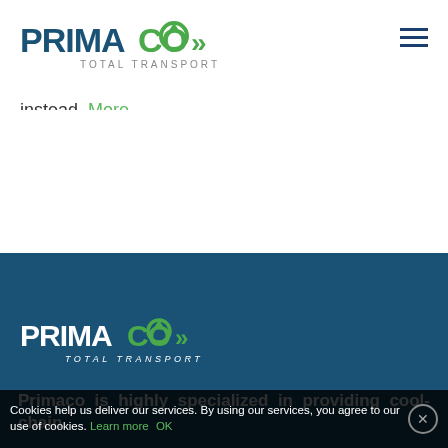[Figure (logo): Primaco Total Transport logo — blue bold PRIMACO text with green circular arrow and chevron, tagline TOTAL TRANSPORT in grey]
instead. More
[Figure (logo): Primaco Total Transport logo in white on blue background — white bold PRIMACO text with green circular arrow and chevron, tagline TOTAL TRANSPORT in white italic]
Primaco is highly specialized in providing cool-chain
Cookies help us deliver our services. By using our services, you agree to our use of cookies. Learn more OK